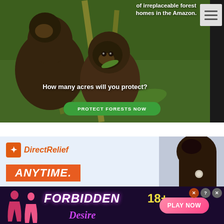[Figure (photo): Advertisement banner with two monkeys (brown capuchins) in Amazon rainforest setting. Text overlay reads 'of irreplaceable forest homes in the Amazon. How many acres will you protect?' with a green 'PROTECT FORESTS NOW' button. Hamburger menu icon in top right.]
[Figure (logo): Direct Relief charity advertisement with orange logo icon, 'DirectRelief' italic text in orange, and 'ANYTIME.' in white text on orange banner. Right side shows partial photo of woman's hair.]
[Figure (infographic): Bottom banner ad for 'FORBIDDEN Desire 18+' adult game with pink/purple color scheme on dark background, silhouette figures on left, 'PLAY NOW' pink button on right, and close/help icons in top right corner.]